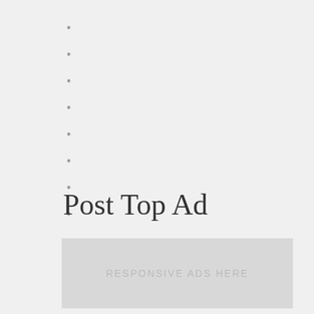Post Top Ad
[Figure (other): Ad placeholder box with text RESPONSIVE ADS HERE]